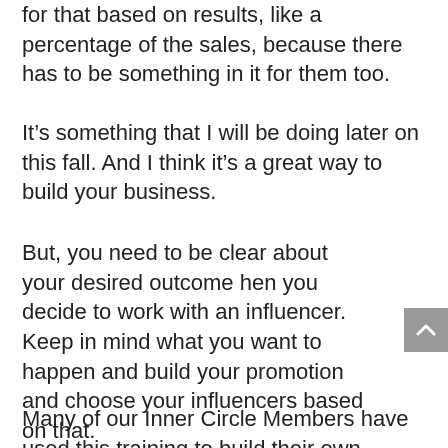for that based on results, like a percentage of the sales, because there has to be something in it for them too.
It's something that I will be doing later on this fall. And I think it's a great way to build your business.
But, you need to be clear about your desired outcome hen you decide to work with an influencer. Keep in mind what you want to happen and build your promotion and choose your influencers based on that.
Many of our Inner Circle Members have used this training to build their own